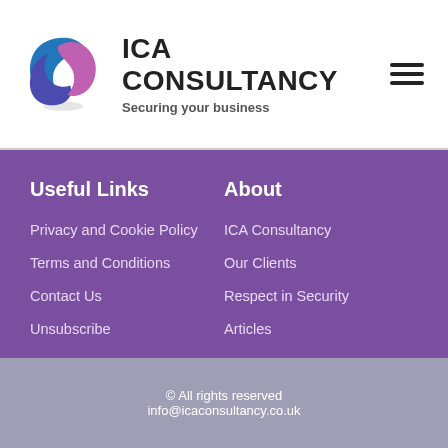[Figure (logo): ICA Consultancy logo: circular icon with blue, purple and pink swirling shapes]
ICA CONSULTANCY
Securing your business
Useful Links
Privacy and Cookie Policy
Terms and Conditions
Contact Us
Unsubscribe
About
ICA Consultancy
Our Clients
Respect in Security
Articles
© All rights reserved
info@icaconsultancy.co.uk